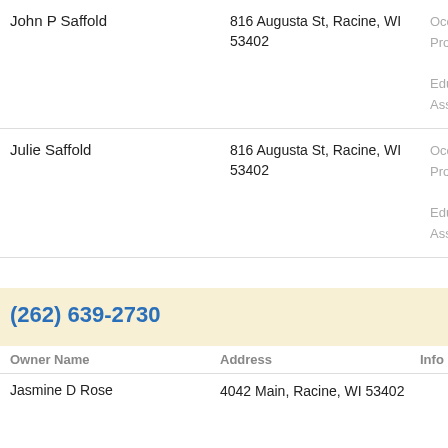| Owner Name | Address | Info |
| --- | --- | --- |
| John P Saffold | 816 Augusta St, Racine, WI 53402 | Occ
Prot
Edu
Ass |
| Julie Saffold | 816 Augusta St, Racine, WI 53402 | Occ
Prot
Edu
Ass |
(262) 639-2730
| Owner Name | Address | Info |
| --- | --- | --- |
| Jasmine D Rose | 4042 Main, Racine, WI 53402 |  |
(262) 639-2731
| Owner Name | Address | Info |
| --- | --- | --- |
| Cynthia D Friend | 4032 Manhattan Dr, Racine, WI 53402 | Ema
frio |